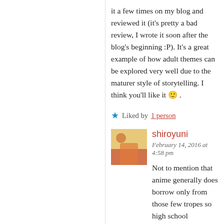it a few times on my blog and reviewed it (it's pretty a bad review, I wrote it soon after the blog's beginning :P). It's a great example of how adult themes can be explored very well due to the maturer style of storytelling. I think you'll like it 🙂 .
★ Liked by 1 person
shiroyuni
February 14, 2016 at 4:58 pm
Not to mention that anime generally does borrow only from those few tropes so high school characters' reactions are possibly the easiest things to predict when watching anime